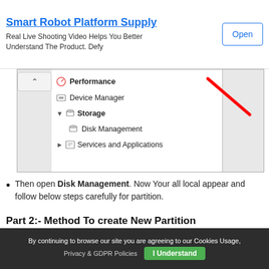[Figure (screenshot): Ad banner showing Smart Robot Platform Supply with Open button]
[Figure (screenshot): Windows Computer Management screenshot showing Storage > Disk Management menu with red arrow annotation]
Then open Disk Management. Now Your all local appear and follow below steps carefully for partition.
Part 2:- Method To create New Partition
Note:- Suppose Your all space already allocation to all drives and your want to shrink them and want to create new drive.
By continuing to browse our site you are agreeing to our Cookies Usage, Privacy & GDPR Policies  I Understand